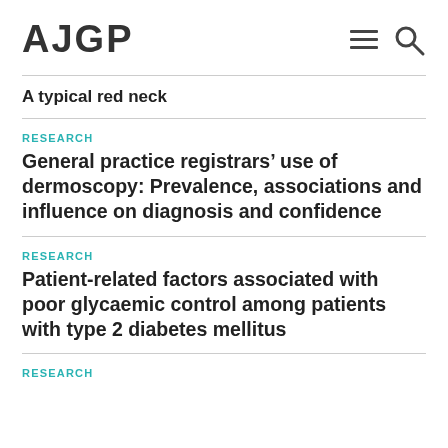AJGP
A typical red neck
RESEARCH
General practice registrars’ use of dermoscopy: Prevalence, associations and influence on diagnosis and confidence
RESEARCH
Patient-related factors associated with poor glycaemic control among patients with type 2 diabetes mellitus
RESEARCH